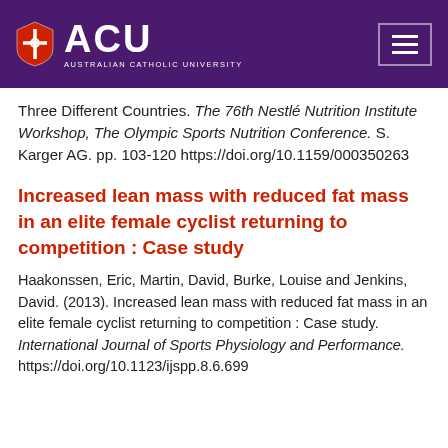ACU — Australian Catholic University
Three Different Countries. The 76th Nestlé Nutrition Institute Workshop, The Olympic Sports Nutrition Conference. S. Karger AG. pp. 103-120 https://doi.org/10.1159/000350263
Increased lean mass with reduced fat mass in an elite female cyclist returning to competition : Case study
Haakonssen, Eric, Martin, David, Burke, Louise and Jenkins, David. (2013). Increased lean mass with reduced fat mass in an elite female cyclist returning to competition : Case study. International Journal of Sports Physiology and Performance. https://doi.org/10.1123/ijspp.8.6.699